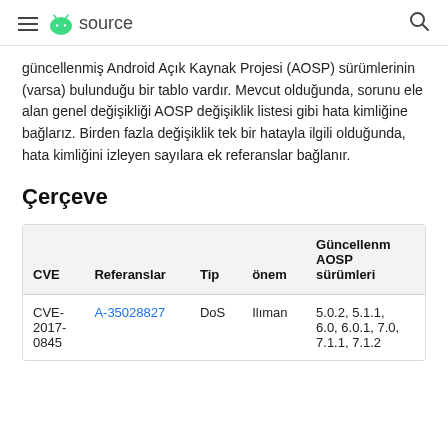≡ [Android] source  🔍
güncellenmiş Android Açık Kaynak Projesi (AOSP) sürümlerinin (varsa) bulunduğu bir tablo vardır. Mevcut olduğunda, sorunu ele alan genel değişikliği AOSP değişiklik listesi gibi hata kimliğine bağlarız. Birden fazla değişiklik tek bir hatayla ilgili olduğunda, hata kimliğini izleyen sayılara ek referanslar bağlanır.
Çerçeve
| CVE | Referanslar | Tip | önem | Güncellenmiş AOSP sürümleri |
| --- | --- | --- | --- | --- |
| CVE-2017-0845 | A-35028827 | DoS | Ilıman | 5.0.2, 5.1.1, 6.0, 6.0.1, 7.0, 7.1.1, 7.1.2 |